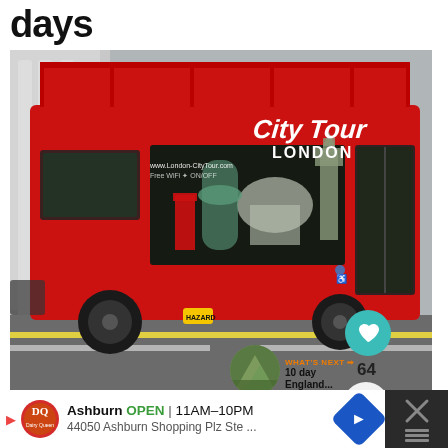days
[Figure (photo): Red London City Tour double-decker open-top bus on a street, with London landmarks illustrated on the side and 'City Tour LONDON' branding. Heart (64 likes) and share buttons visible. 'What's Next' thumbnail with '10 day England...' label.]
WHAT'S NEXT → 10 day England...
Ashburn OPEN | 11AM–10PM  44050 Ashburn Shopping Plz Ste ...